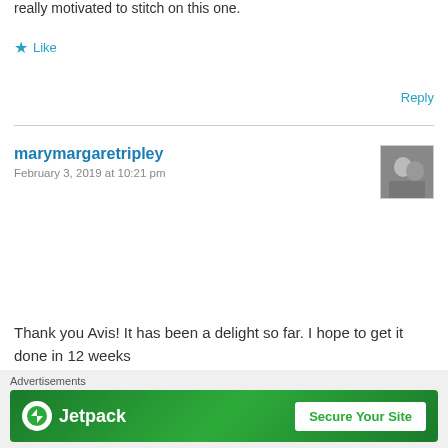really motivated to stitch on this one.
Like
Reply
marymargaretripley
February 3, 2019 at 10:21 pm
Thank you Avis! It has been a delight so far. I hope to get it done in 12 weeks
Like
Reply
[Figure (other): Advertisement banner for Jetpack with green background, Jetpack logo on left, and 'Secure Your Site' button on right]